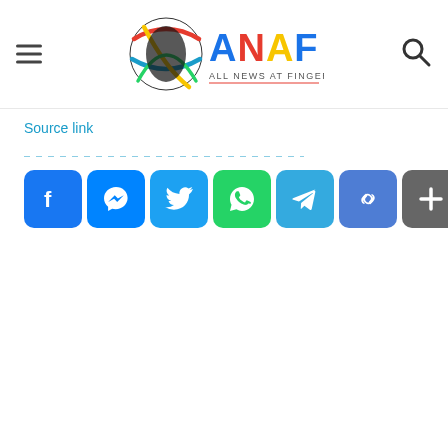[Figure (logo): ANAF - All News At Finger Tips logo with colorful globe icon and text]
Source link
[Figure (infographic): Social sharing buttons row: Facebook, Messenger, Twitter, WhatsApp, Telegram, Copy Link, More]